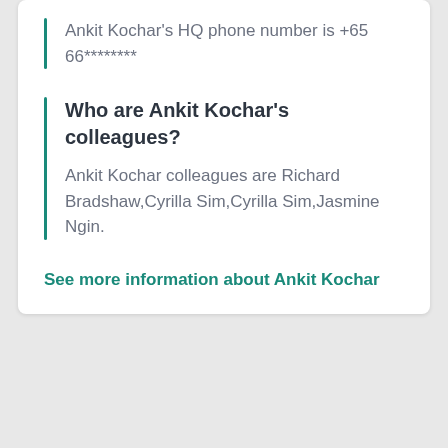Ankit Kochar’s HQ phone number is +65 66********
Who are Ankit Kochar’s colleagues?
Ankit Kochar colleagues are Richard Bradshaw,Cyrilla Sim,Cyrilla Sim,Jasmine Ngin.
See more information about Ankit Kochar